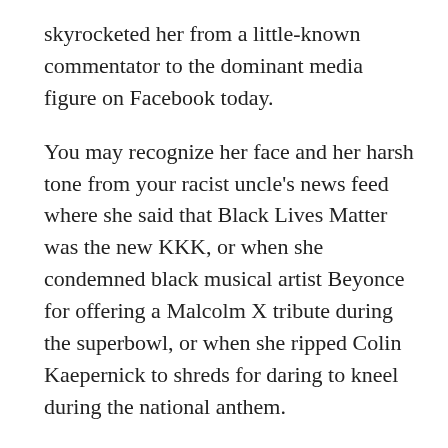skyrocketed her from a little-known commentator to the dominant media figure on Facebook today.
You may recognize her face and her harsh tone from your racist uncle's news feed where she said that Black Lives Matter was the new KKK, or when she condemned black musical artist Beyonce for offering a Malcolm X tribute during the superbowl, or when she ripped Colin Kaepernick to shreds for daring to kneel during the national anthem.
Her success is simple: she is an attractive young woman saying the things you'd expect to hear from a 60-something man. She makes conservatives feel good about their backwards views because a